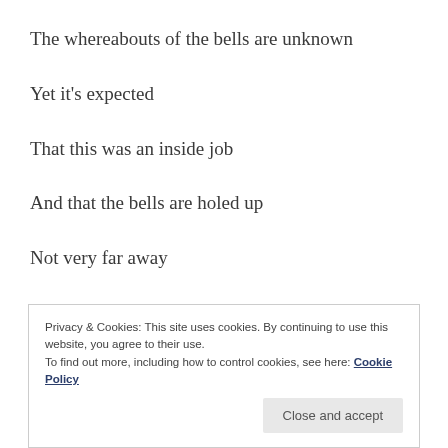The whereabouts of the bells are unknown
Yet it's expected
That this was an inside job
And that the bells are holed up
Not very far away
Forgotten about in some old shed or barn
Privacy & Cookies: This site uses cookies. By continuing to use this website, you agree to their use. To find out more, including how to control cookies, see here: Cookie Policy
Close and accept